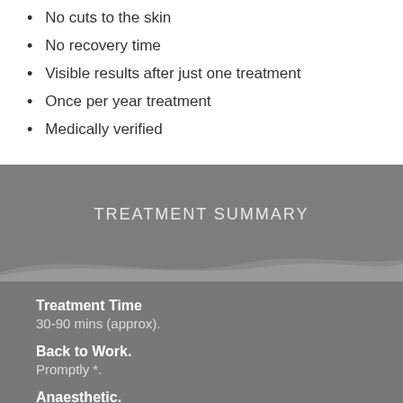No cuts to the skin
No recovery time
Visible results after just one treatment
Once per year treatment
Medically verified
TREATMENT SUMMARY
Treatment Time
30-90 mins (approx).
Back to Work.
Promptly *.
Anaesthetic.
Not Called for.